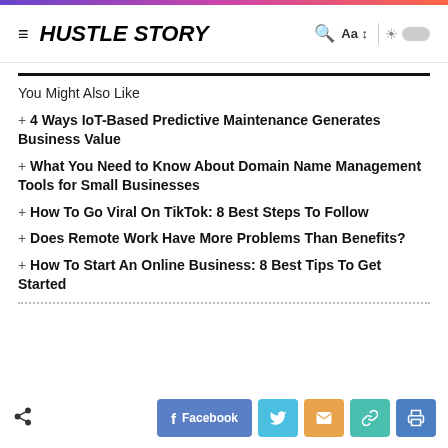HUSTLE STORY
You Might Also Like
+ 4 Ways IoT-Based Predictive Maintenance Generates Business Value
+ What You Need to Know About Domain Name Management Tools for Small Businesses
+ How To Go Viral On TikTok: 8 Best Steps To Follow
+ Does Remote Work Have More Problems Than Benefits?
+ How To Start An Online Business: 8 Best Tips To Get Started